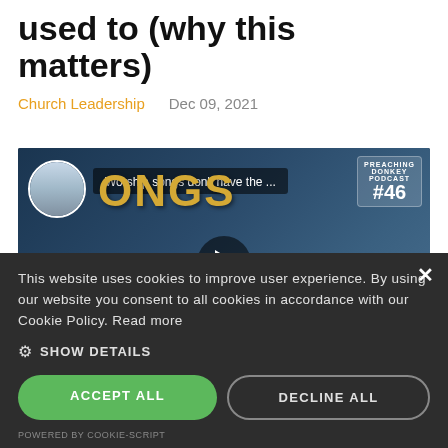used to (why this matters)
Church Leadership   Dec 09, 2021
[Figure (screenshot): Video thumbnail for podcast episode #46 titled 'Worship songs don't have the ...' with text 'SONGS GET OLD' on a dark blue background, featuring a man's face and a small avatar circle on the left. Play button visible in center.]
This website uses cookies to improve user experience. By using our website you consent to all cookies in accordance with our Cookie Policy. Read more
SHOW DETAILS
ACCEPT ALL
DECLINE ALL
POWERED BY COOKIE-SCRIPT